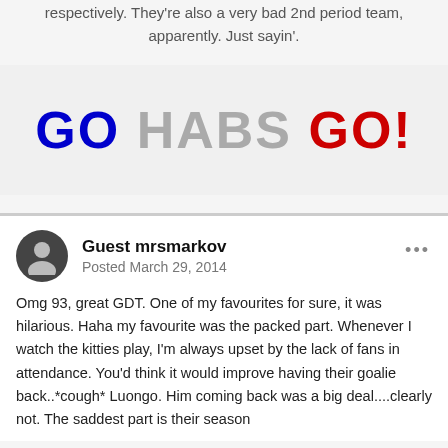respectively. They're also a very bad 2nd period team, apparently. Just sayin'.
[Figure (other): Large bold text reading GO HABS GO! with GO in blue, HABS in gray, GO! in red]
Guest mrsmarkov
Posted March 29, 2014
Omg 93, great GDT. One of my favourites for sure, it was hilarious. Haha my favourite was the packed part. Whenever I watch the kitties play, I'm always upset by the lack of fans in attendance. You'd think it would improve having their goalie back..*cough* Luongo. Him coming back was a big deal....clearly not. The saddest part is their season